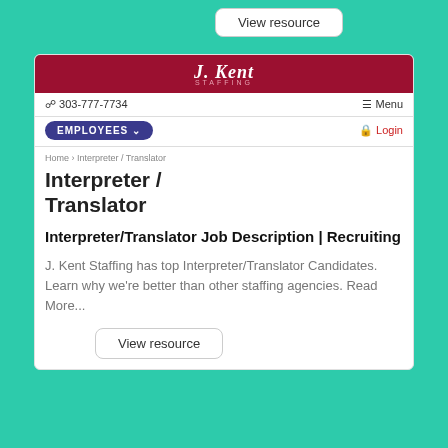View resource
[Figure (screenshot): J. Kent Staffing logo bar — dark red/crimson background with white italic script text 'J. Kent' and 'STAFFING' in small caps below]
303-777-7734
Menu
EMPLOYEES
Login
Home > Interpreter / Translator
Interpreter / Translator
Interpreter/Translator Job Description | Recruiting
J. Kent Staffing has top Interpreter/Translator Candidates. Learn why we're better than other staffing agencies. Read More...
View resource